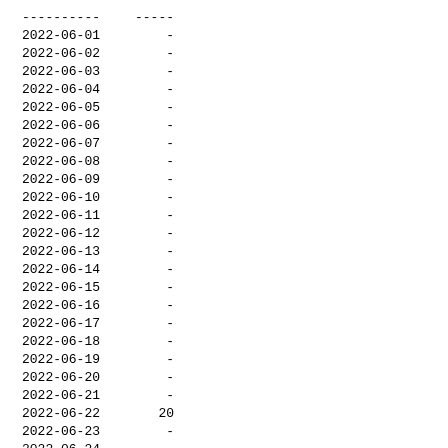| ---------- | ----- |
| --- | --- |
| 2022-06-01 | - |
| 2022-06-02 | - |
| 2022-06-03 | - |
| 2022-06-04 | - |
| 2022-06-05 | - |
| 2022-06-06 | - |
| 2022-06-07 | - |
| 2022-06-08 | - |
| 2022-06-09 | - |
| 2022-06-10 | - |
| 2022-06-11 | - |
| 2022-06-12 | - |
| 2022-06-13 | - |
| 2022-06-14 | - |
| 2022-06-15 | - |
| 2022-06-16 | - |
| 2022-06-17 | - |
| 2022-06-18 | - |
| 2022-06-19 | - |
| 2022-06-20 | - |
| 2022-06-21 | - |
| 2022-06-22 | 20 |
| 2022-06-23 | - |
| 2022-06-24 | - |
| 2022-06-25 | - |
| 2022-06-26 | - |
| 2022-06-27 | - |
| 2022-06-28 | - |
| 2022-06-29 | - |